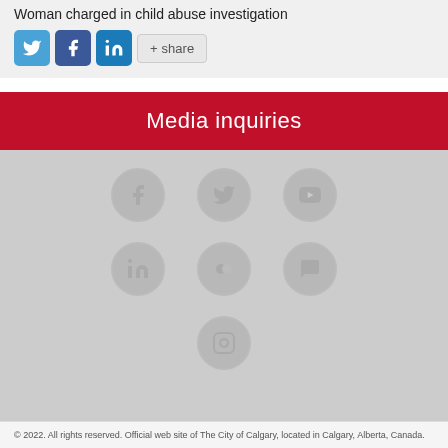Woman charged in child abuse investigation
[Figure (other): Social sharing buttons row: Twitter (blue bird icon), Facebook (dark blue f icon), LinkedIn (blue in icon), and a +share button]
Media inquiries
[Figure (other): Social media icon grid on grey background: row 1: Facebook, Twitter, YouTube; row 2: LinkedIn, Flickr, Chat/comment; row 3: Instagram]
© 2022. All rights reserved. Official web site of The City of Calgary, located in Calgary, Alberta, Canada.